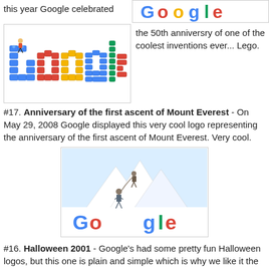this year Google celebrated
[Figure (logo): Partial Google logo image cropped at top right]
[Figure (logo): Google Lego doodle logo - Google spelled out in colorful Lego bricks with a small figure on top]
the 50th anniversry of one of the coolest inventions ever... Lego.
#17. Anniversary of the first ascent of Mount Everest - On May 29, 2008 Google displayed this very cool logo representing the anniversary of the first ascent of Mount Everest. Very cool.
[Figure (logo): Google Mount Everest doodle - Google logo with mountain climbers ascending, snowy mountain background]
#16. Halloween 2001 - Google's had some pretty fun Halloween logos, but this one is plain and simple which is why we like it the most of the sppoky Halloween logos that Google has displayed over the years.
#15. Leap Year 2004 - as we reach the mid-way point of
[Figure (logo): Google Halloween doodle - Google logo with ghost, pumpkin and cat Halloween theme]